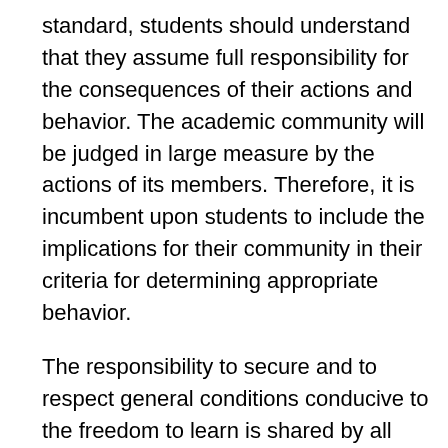standard, students should understand that they assume full responsibility for the consequences of their actions and behavior. The academic community will be judged in large measure by the actions of its members. Therefore, it is incumbent upon students to include the implications for their community in their criteria for determining appropriate behavior.
The responsibility to secure and to respect general conditions conducive to the freedom to learn is shared by all members of the academic community. This university has a duty to develop policies and procedures that provide a safeguard to this freedom. Such policies and procedures are developed at this institution with the participation of all members of the academic community. As such, the university welcomes and honors people of all races,